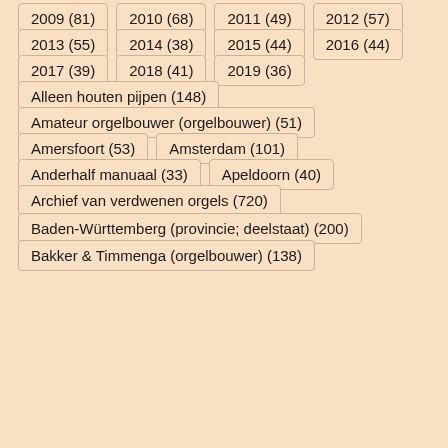2009 (81)
2010 (68)
2011 (49)
2012 (57)
2013 (55)
2014 (38)
2015 (44)
2016 (44)
2017 (39)
2018 (41)
2019 (36)
Alleen houten pijpen (148)
Amateur orgelbouwer (orgelbouwer) (51)
Amersfoort (53)
Amsterdam (101)
Anderhalf manuaal (33)
Apeldoorn (40)
Archief van verdwenen orgels (720)
Baden-Württemberg (provincie; deelstaat) (200)
Bakker & Timmenga (orgelbouwer) (138)